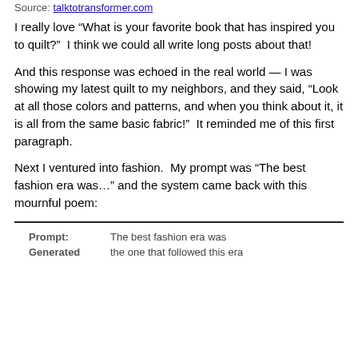Source: talktotransformer.com
I really love “What is your favorite book that has inspired you to quilt?”  I think we could all write long posts about that!
And this response was echoed in the real world — I was showing my latest quilt to my neighbors, and they said, “Look at all those colors and patterns, and when you think about it, it is all from the same basic fabric!”  It reminded me of this first paragraph.
Next I ventured into fashion.  My prompt was “The best fashion era was…” and the system came back with this mournful poem:
| Prompt: | Generated |
| --- | --- |
| Prompt: | The best fashion era was |
| Generated | the one that followed this era |